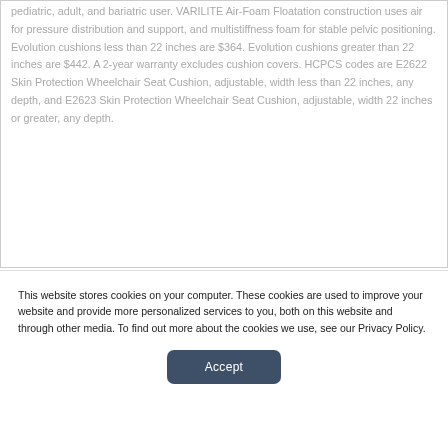pediatric, adult, and bariatric user. VARILITE Air-Foam Floatation construction uses air for pressure distribution and support, and multistiffness foam for stable pelvic positioning. Evolution cushions less than 22 inches are $364. Evolution cushions greater than 22 inches are $442. A 2-year warranty excludes cushion covers. HCPCS codes are E2622 Skin Protection Wheelchair Seat Cushion, adjustable, width less than 22 inches, any depth, and E2623 Skin Protection Wheelchair Seat Cushion, adjustable, width 22 inches or greater, any depth.
This website stores cookies on your computer. These cookies are used to improve your website and provide more personalized services to you, both on this website and through other media. To find out more about the cookies we use, see our Privacy Policy.